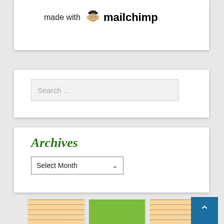[Figure (logo): Mailchimp logo with monkey icon and text 'made with mailchimp']
Search ...
Archives
[Figure (screenshot): Select Month dropdown widget]
[Figure (photo): Grid of six product images showing Halloween-themed kitchen textiles including plaid towels, green potholders with witch boot design, and Halloween BOO towel]
[Figure (other): Scroll-to-top button (blue square with upward arrow)]